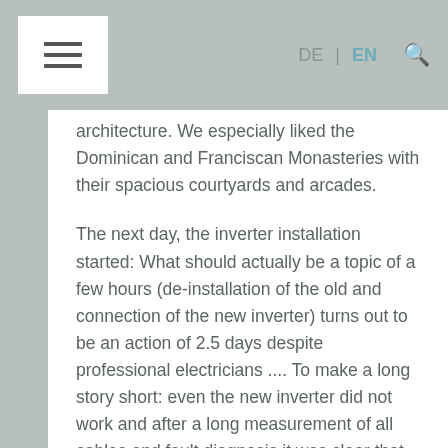DE | EN [search icon]
architecture. We especially liked the Dominican and Franciscan Monasteries with their spacious courtyards and arcades.
The next day, the inverter installation started: What should actually be a topic of a few hours (de-installation of the old and connection of the new inverter) turns out to be an action of 2.5 days despite professional electricians .... To make a long story short: even the new inverter did not work and after a long measurement of all cables and fault diagnosis it was clear that the problem was due to an incoming power cable, which did not bring full power and thus the inverter could not boot: Now we are the proud owner of a functioning third inverter (in addition to the two permanently